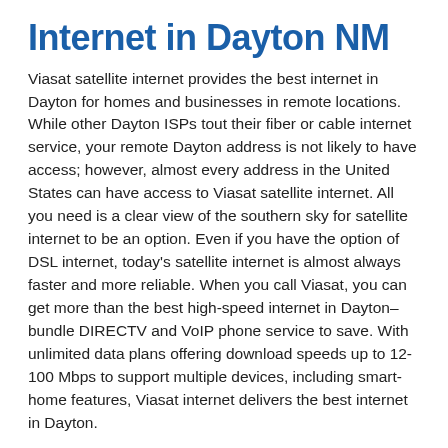Internet in Dayton NM
Viasat satellite internet provides the best internet in Dayton for homes and businesses in remote locations. While other Dayton ISPs tout their fiber or cable internet service, your remote Dayton address is not likely to have access; however, almost every address in the United States can have access to Viasat satellite internet. All you need is a clear view of the southern sky for satellite internet to be an option. Even if you have the option of DSL internet, today's satellite internet is almost always faster and more reliable. When you call Viasat, you can get more than the best high-speed internet in Dayton–bundle DIRECTV and VoIP phone service to save. With unlimited data plans offering download speeds up to 12-100 Mbps to support multiple devices, including smart-home features, Viasat internet delivers the best internet in Dayton.
Viasat Has Expanded Dayton